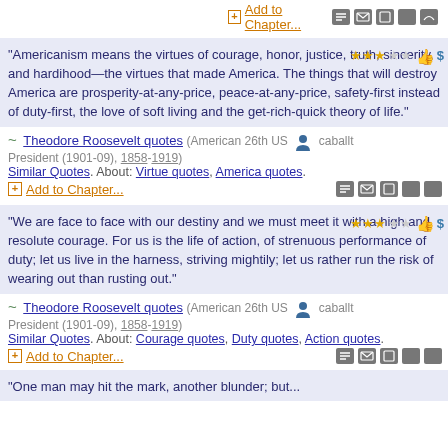Add to Chapter...
"Americanism means the virtues of courage, honor, justice, truth, sincerity, and hardihood—the virtues that made America. The things that will destroy America are prosperity-at-any-price, peace-at-any-price, safety-first instead of duty-first, the love of soft living and the get-rich-quick theory of life."
Theodore Roosevelt quotes (American 26th US President (1901-09), 1858-1919) Similar Quotes. About: Virtue quotes, America quotes. Add to Chapter...
"We are face to face with our destiny and we must meet it with a high and resolute courage. For us is the life of action, of strenuous performance of duty; let us live in the harness, striving mightily; let us rather run the risk of wearing out than rusting out."
Theodore Roosevelt quotes (American 26th US President (1901-09), 1858-1919) Similar Quotes. About: Courage quotes, Duty quotes, Action quotes. Add to Chapter...
"One man may hit the mark, another blunder; but...